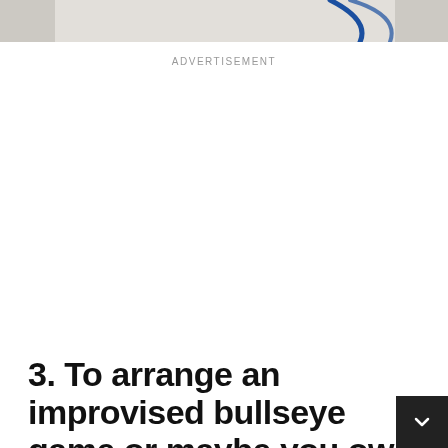[Figure (photo): Partial view of a white fabric or paper surface with a blue curved line or arc drawn on it, cropped at the top of the page.]
ADVERTISEMENT
3. To arrange an improvised bullseye game or maybe you own darts tournament, all you will need